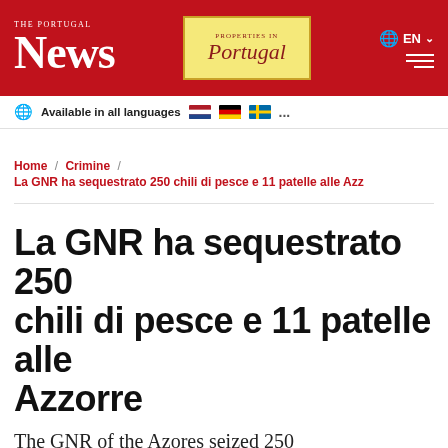THE PORTUGAL News
[Figure (other): Advertisement banner: Properties in Portugal]
Available in all languages 🇳🇱 🇩🇪 🇸🇪 ...
Home / Crimine / La GNR ha sequestrato 250 chili di pesce e 11 patelle alle Azz
La GNR ha sequestrato 250 chili di pesce e 11 patelle alle Azzorre
The GNR of the Azores seized 250 kilos of fresh fish and 11 limpets in